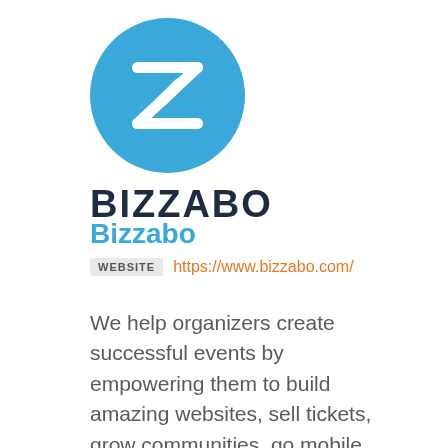[Figure (logo): Bizzabo logo: a teal/blue circle with a white stylized Z letter inside, and the word BIZZABO in dark navy bold text below]
Bizzabo
WEBSITE   https://www.bizzabo.com/
We help organizers create successful events by empowering them to build amazing websites, sell tickets, grow communities, go mobile and maximize event experiences – using a beautiful, user friendly